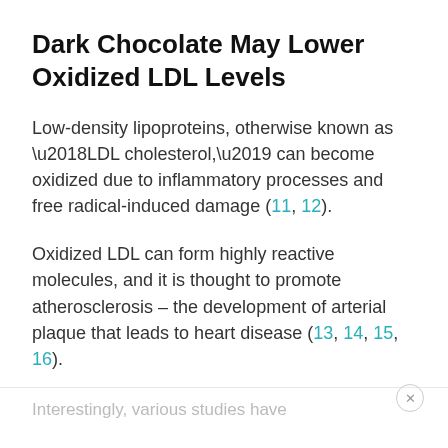Dark Chocolate May Lower Oxidized LDL Levels
Low-density lipoproteins, otherwise known as ‘LDL cholesterol,’ can become oxidized due to inflammatory processes and free radical-induced damage (11, 12).
Oxidized LDL can form highly reactive molecules, and it is thought to promote atherosclerosis – the development of arterial plaque that leads to heart disease (13, 14, 15, 16).
Interestingly, various studies have